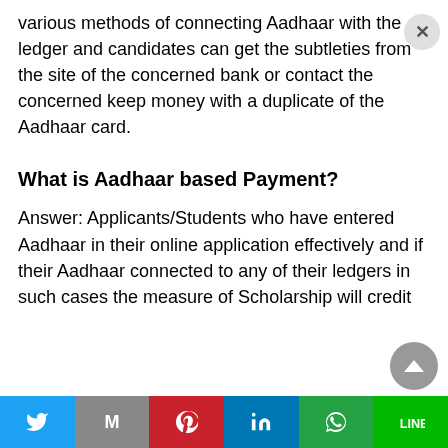various methods of connecting Aadhaar with the ledger and candidates can get the subtleties from the site of the concerned bank or contact the concerned keep money with a duplicate of the Aadhaar card.
What is Aadhaar based Payment?
Answer: Applicants/Students who have entered Aadhaar in their online application effectively and if their Aadhaar connected to any of their ledgers in such cases the measure of Scholarship will credit